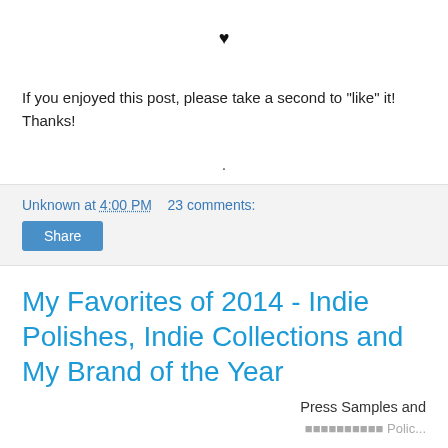[Figure (other): Small black heart symbol centered on page]
If you enjoyed this post, please take a second to "like" it! Thanks!
[Figure (other): Small centered dot separator]
Unknown at 4:00 PM   23 comments:
Share
My Favorites of 2014 - Indie Polishes, Indie Collections and My Brand of the Year
Press Samples and